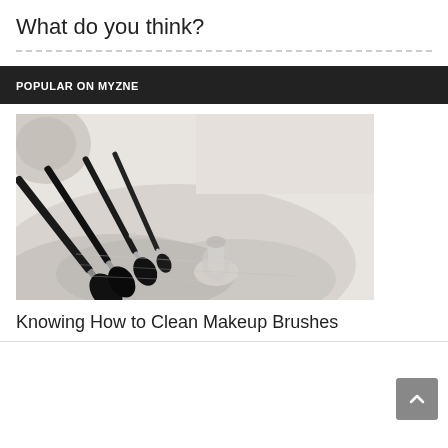What do you think?
POPULAR ON MYZNE
[Figure (photo): Several black makeup brushes with silver ferrules resting on a white fluffy towel with a clear bottle of cleanser, and a gold container in the background]
Knowing How to Clean Makeup Brushes